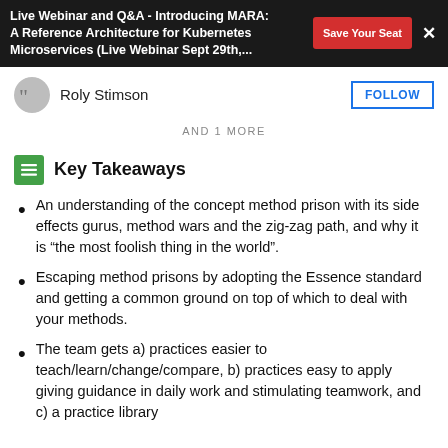Live Webinar and Q&A - Introducing MARA: A Reference Architecture for Kubernetes Microservices (Live Webinar Sept 29th,...
Roly Stimson
AND 1 MORE
Key Takeaways
An understanding of the concept method prison with its side effects gurus, method wars and the zig-zag path, and why it is “the most foolish thing in the world”.
Escaping method prisons by adopting the Essence standard and getting a common ground on top of which to deal with your methods.
The team gets a) practices easier to teach/learn/change/compare, b) practices easy to apply giving guidance in daily work and stimulating teamwork, and c) a practice library